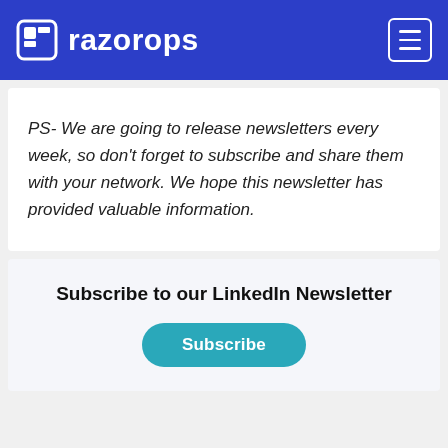razorops
PS- We are going to release newsletters every week, so don't forget to subscribe and share them with your network. We hope this newsletter has provided valuable information.
Subscribe to our LinkedIn Newsletter
Subscribe